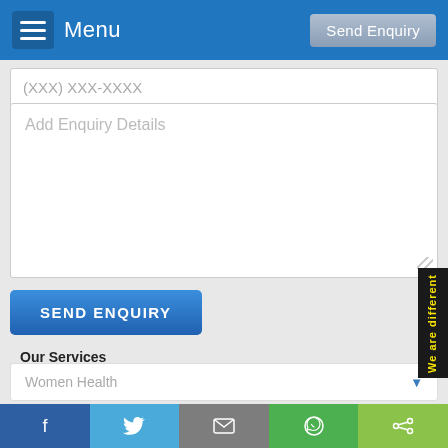Menu | Send Enquiry
(XXX) XXX-XXXX
Add Enquiry Details
SEND ENQUIRY
Our Services
Women Health
Facebook | Twitter | Email | WhatsApp | Share
We are different